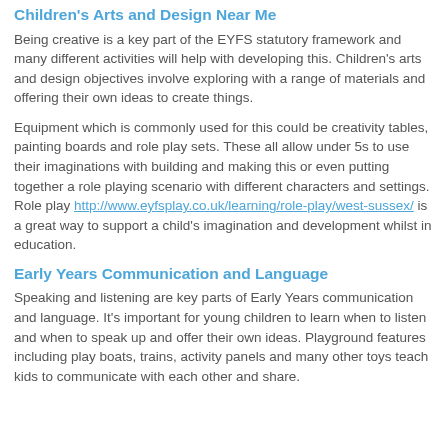Children's Arts and Design Near Me
Being creative is a key part of the EYFS statutory framework and many different activities will help with developing this. Children's arts and design objectives involve exploring with a range of materials and offering their own ideas to create things.
Equipment which is commonly used for this could be creativity tables, painting boards and role play sets. These all allow under 5s to use their imaginations with building and making this or even putting together a role playing scenario with different characters and settings. Role play http://www.eyfsplay.co.uk/learning/role-play/west-sussex/ is a great way to support a child's imagination and development whilst in education.
Early Years Communication and Language
Speaking and listening are key parts of Early Years communication and language. It's important for young children to learn when to listen and when to speak up and offer their own ideas. Playground features including play boats, trains, activity panels and many other toys teach kids to communicate with each other and share.